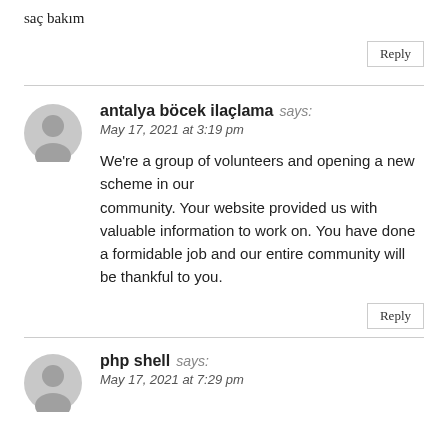saç bakım
Reply
antalya böcek ilaçlama says:
May 17, 2021 at 3:19 pm

We're a group of volunteers and opening a new scheme in our community. Your website provided us with valuable information to work on. You have done a formidable job and our entire community will be thankful to you.
Reply
php shell says:
May 17, 2021 at 7:29 pm